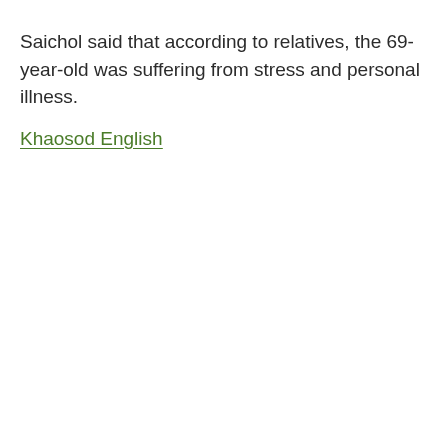Saichol said that according to relatives, the 69-year-old was suffering from stress and personal illness.
Khaosod English